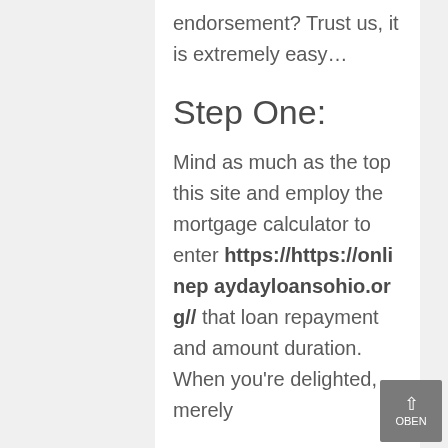endorsement? Trust us, it is extremely easy…
Step One:
Mind as much as the top this site and employ the mortgage calculator to enter https://https://onlinepaydayloansohio.org// that loan repayment and amount duration. When you're delighted, merely